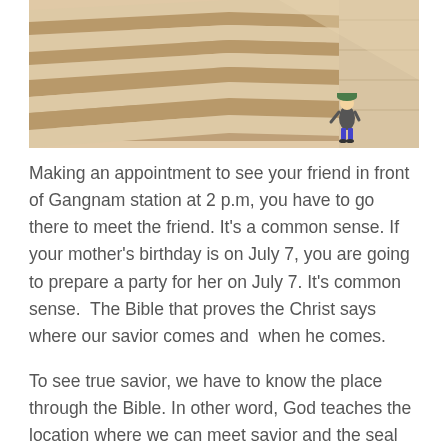[Figure (photo): Photo of wide stone steps (staircase) with a child standing on one of the lower steps near the right side, wearing a hat and looking down. Light-colored stone walls and warm sunlight visible.]
Making an appointment to see your friend in front of Gangnam station at 2 p.m, you have to go there to meet the friend. It's a common sense. If your mother's birthday is on July 7, you are going to prepare a party for her on July 7. It's common sense.  The Bible that proves the Christ says where our savior comes and  when he comes.
To see true savior, we have to know the place through the Bible. In other word, God teaches the location where we can meet savior and the seal that